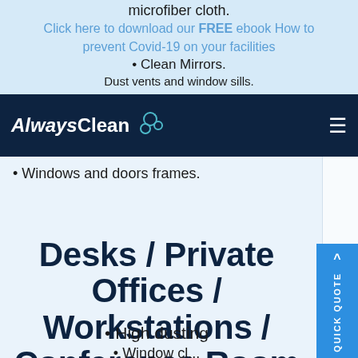microfiber cloth.
Click here to download our FREE ebook How to prevent Covid-19 on your facilities
• Clean Mirrors.
Dust vents and window sills.
Always Clean
• Windows and doors frames.
Desks / Private Offices / Workstations / Conference Room
• High dusting
Window cl...